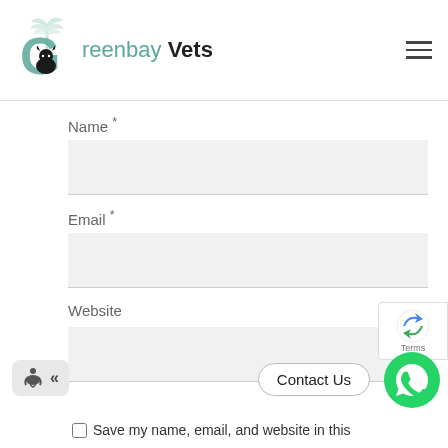Greenbay Vets
Name *
Email *
Website
Contact Us
Save my name, email, and website in this